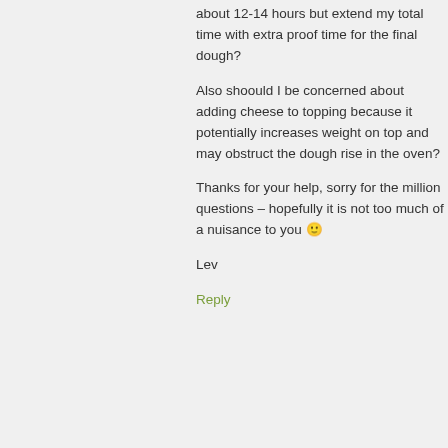about 12-14 hours but extend my total time with extra proof time for the final dough?
Also shoould I be concerned about adding cheese to topping because it potentially increases weight on top and may obstruct the dough rise in the oven?
Thanks for your help, sorry for the million questions – hopefully it is not too much of a nuisance to you 🙂
Lev
Reply